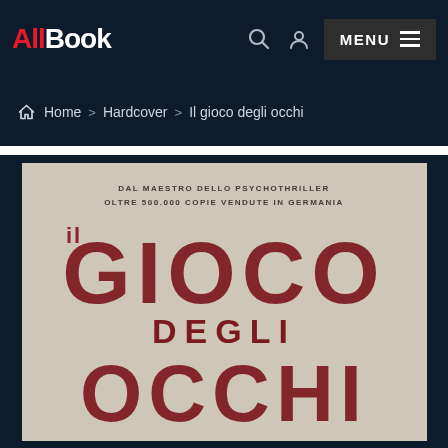AllBook — MENU
Home > Hardcover > Il gioco degli occhi
[Figure (photo): Book cover of 'Il Gioco degli Occhi' showing large dark red distressed lettering on a pale background. Text reads: DAL MAESTRO DELLO PSYCHOTHRILLER OLTRE 500.000 COPIE VENDUTE IN GERMANIA — IL GIOCO DEGLI OCCHI]